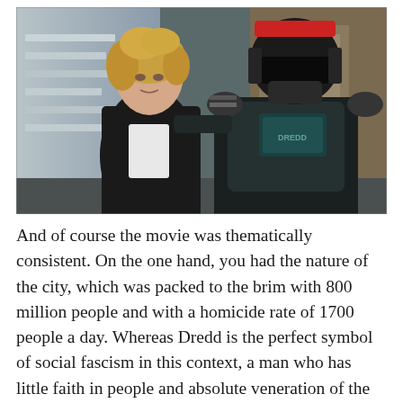[Figure (photo): Movie still from Dredd (2012) showing two characters: a young woman with short blonde hair wearing a black jacket on the left, and a man in a full Judge Dredd armored costume with helmet on the right. They appear to be standing in a corridor.]
And of course the movie was thematically consistent. On the one hand, you had the nature of the city, which was packed to the brim with 800 million people and with a homicide rate of 1700 people a day. Whereas Dredd is the perfect symbol of social fascism in this context, a man who has little faith in people and absolute veneration of the law, Anderson is the bright-eyed rookie who wants to help people and believes there is good to be